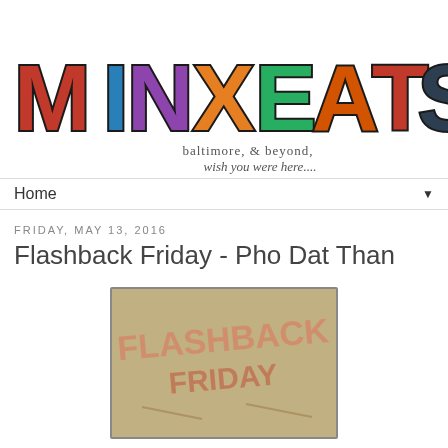[Figure (logo): MINXEATS blog logo with large decorative letters filled with food and city photos, subtitle reads 'baltimore, & beyond, wish you were here...']
Home ▼
Friday, May 13, 2016
Flashback Friday - Pho Dat Than
[Figure (photo): Flashback Friday image with 'FLASHBACK FRIDAY' text on a vintage tan/gold background]